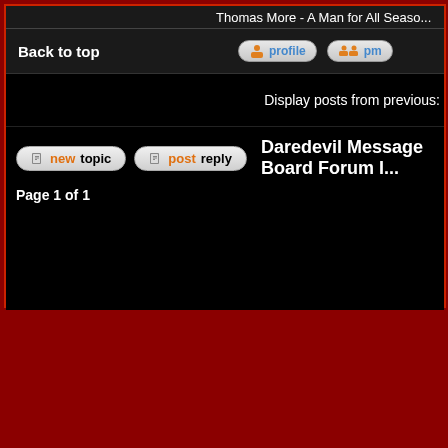Thomas More - A Man for All Seaso...
Back to top
[Figure (screenshot): Profile button and PM button in forum interface]
Display posts from previous:
[Figure (screenshot): New Topic and Post Reply buttons]
Daredevil Message Board Forum I...
Page 1 of 1
Powered by